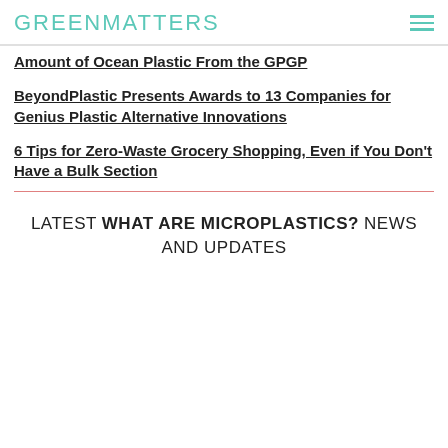GREENMATTERS
Amount of Ocean Plastic From the GPGP
BeyondPlastic Presents Awards to 13 Companies for Genius Plastic Alternative Innovations
6 Tips for Zero-Waste Grocery Shopping, Even if You Don't Have a Bulk Section
LATEST WHAT ARE MICROPLASTICS? NEWS AND UPDATES